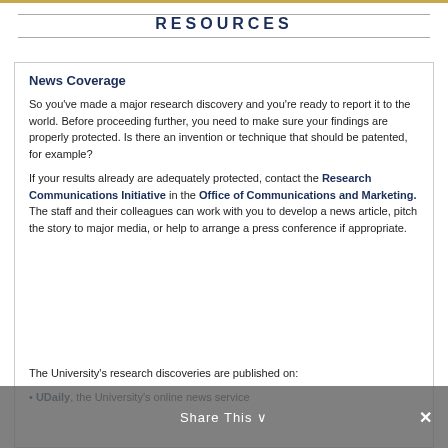RESOURCES
News Coverage
So you’ve made a major research discovery and you’re ready to report it to the world. Before proceeding further, you need to make sure your findings are properly protected. Is there an invention or technique that should be patented, for example?
If your results already are adequately protected, contact the Research Communications Initiative in the Office of Communications and Marketing. The staff and their colleagues can work with you to develop a news article, pitch the story to major media, or help to arrange a press conference if appropriate.
The University’s research discoveries are published on:
UDaily, the University’s online news service